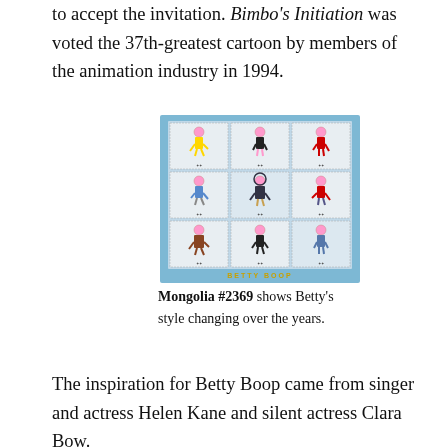to accept the invitation. Bimbo's Initiation was voted the 37th-greatest cartoon by members of the animation industry in 1994.
[Figure (photo): A sheet of Mongolian postage stamps (#2369) showing Betty Boop cartoon character in various sports/activity poses arranged in a 3x3 grid on a light blue background, with 'BETTY BOOP' text at the bottom of the sheet.]
Mongolia #2369 shows Betty's style changing over the years.
The inspiration for Betty Boop came from singer and actress Helen Kane and silent actress Clara Bow.